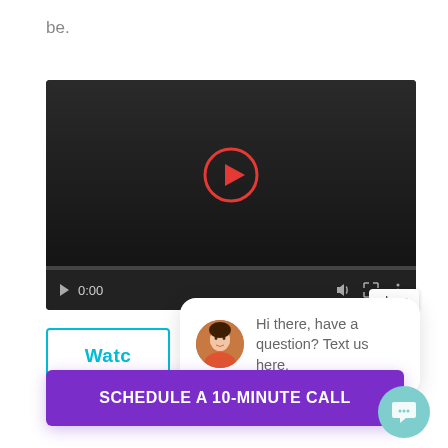be.
[Figure (screenshot): Video player with dark background showing a red play button circle in center, timeline progress bar, and playback controls showing 0:00 timestamp, volume, fullscreen and menu icons. A 'close' button appears at bottom right of player.]
[Figure (screenshot): A cyan-bordered button partially visible with text 'Watc' (truncated) on the left side.]
[Figure (screenshot): Chat popup bubble with woman avatar photo and text 'Hi there, have a question? Text us here.']
[Figure (infographic): Purple CTA button labeled 'SCHEDULE A 10-MINUTE CALL' with teal chat icon circle on the right side.]